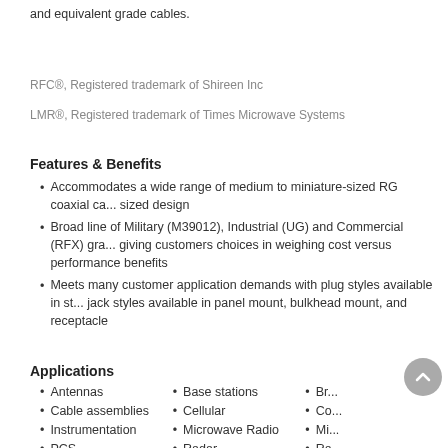and equivalent grade cables.
RFC®, Registered trademark of Shireen Inc
LMR®, Registered trademark of Times Microwave Systems
Features & Benefits
Accommodates a wide range of medium to miniature-sized RG coaxial cables with its compact sized design
Broad line of Military (M39012), Industrial (UG) and Commercial (RFX) grade connectors, giving customers choices in weighing cost versus performance benefits
Meets many customer application demands with plug styles available in straight and right angle, jack styles available in panel mount, bulkhead mount, and receptacle
Applications
Antennas
Cable assemblies
Instrumentation
PCS
Satcom
Base stations
Cellular
Microwave Radio
Radar
Surge Protection
Broadband
Commercial
Military
Radio
Wireless
Type N Standard Specifications